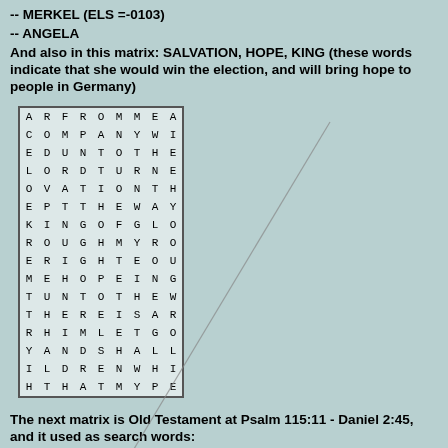-- MERKEL (ELS=-0103)
-- ANGELA
And also in this matrix: SALVATION, HOPE, KING (these words indicate that she would win the election, and will bring hope to people in Germany)
[Figure (other): Word search / Bible code matrix grid with letters, some circled in red (O, E, K, R, E, M) and some boxed in green (A, N, G, L, A). A diagonal line connects some highlighted letters.]
The next matrix is Old Testament at Psalm 115:11 - Daniel 2:45, and it used as search words:
-- MERKEL (ELS=-63865)
-- ANGELA
-- LEADER
-- WOMAN (at Proverbs 30:23)
Also note in this matrix these relevant words and phrases: